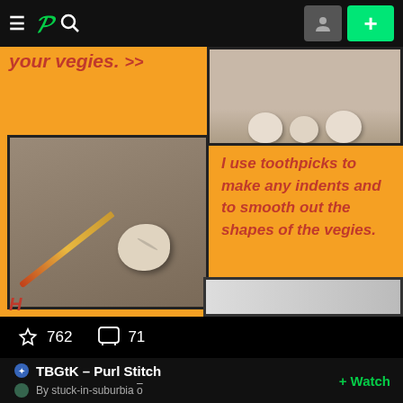DeviantArt navigation bar with hamburger menu, logo, search, avatar, and + button
[Figure (photo): Orange background tutorial page showing clay vegetables being made with toothpick tool. Left image shows a toothpick next to a white clay ball. Top right shows multiple white clay shapes. Partial orange text reads 'your vegies.' and 'I use toothpicks to make any indents and to smooth out the shapes of the vegies.']
762
71
TBGtK – Purl Stitch
By stuck-in-suburbia
+ Watch
It can also be used to create ribbing, each of which will be shown/explained at the bottom of this tutorial.
1. Take the needle with the stitches in your left hand